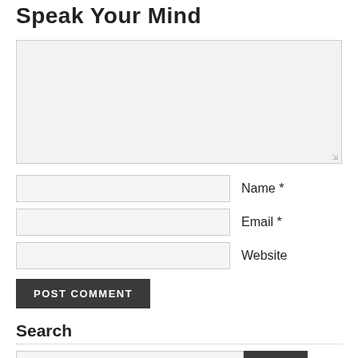Speak Your Mind
[Figure (screenshot): Large text input textarea with light gray background and resize handle in bottom right corner]
Name *
Email *
Website
POST COMMENT
Search
Search this website...